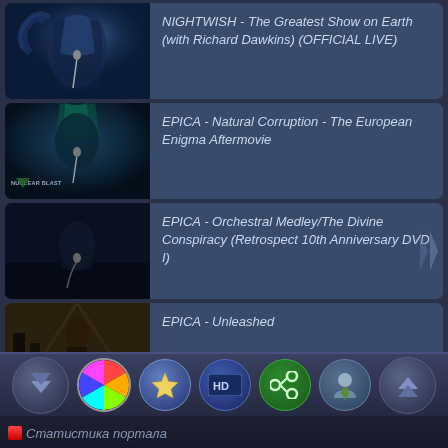[Figure (screenshot): Thumbnail for NIGHTWISH video - singer performing on stage with blue lighting]
NIGHTWISH - The Greatest Show on Earth (with Richard Dawkins) (OFFICIAL LIVE)
[Figure (screenshot): Thumbnail for EPICA video - singer with teal/blue hair, Nuclear Blast logo visible]
EPICA - Natural Corruption - The European Enigma Aftermovie
[Figure (screenshot): Thumbnail for EPICA orchestral video - dark concert scene]
EPICA - Orchestral Medley/The Divine Conspiracy (Retrospect 10th Anniversary DVD I)
[Figure (screenshot): Thumbnail for EPICA Unleashed video - band in industrial setting]
EPICA - Unleashed
[Figure (infographic): Toolbar with navigation and action buttons: down arrow, color wheel, star, HD, share, user, up arrow]
Статистика портала